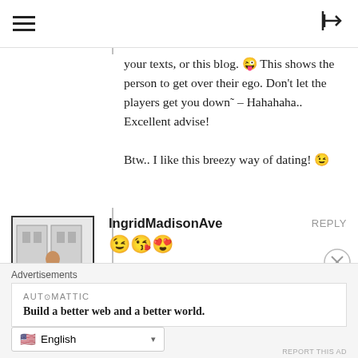≡  [login icon]
your texts, or this blog. 😜 This shows the person to get over their ego. Don't let the players get you down˜ – Hahahaha.. Excellent advise!
Btw.. I like this breezy way of dating! 😉
IngridMadisonAve
REPLY
😉😘😍
Ekatherina@t-online.de
REPLY
Advertisements
AUTOMATTIC
Build a better web and a better world.
English
REPORT THIS AD